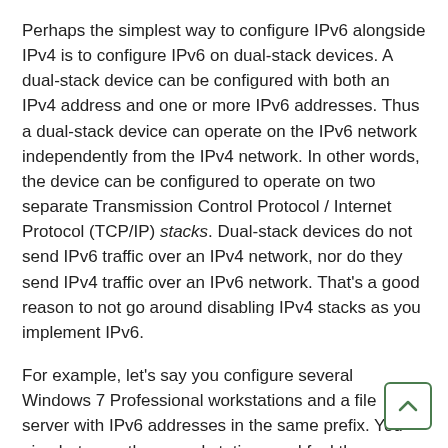Perhaps the simplest way to configure IPv6 alongside IPv4 is to configure IPv6 on dual-stack devices. A dual-stack device can be configured with both an IPv4 address and one or more IPv6 addresses. Thus a dual-stack device can operate on the IPv6 network independently from the IPv4 network. In other words, the device can be configured to operate on two separate Transmission Control Protocol / Internet Protocol (TCP/IP) stacks. Dual-stack devices do not send IPv6 traffic over an IPv4 network, nor do they send IPv4 traffic over an IPv6 network. That's a good reason to not go around disabling IPv4 stacks as you implement IPv6.
For example, let's say you configure several Windows 7 Professional workstations and a file server with IPv6 addresses in the same prefix. You ping between those workstations and feel the warm glow of satisfaction when you see results indicating a zero percent loss. So happy are you that you that pop open the Local Area Connection Properties dialog on your own workstation, deselect the Internet